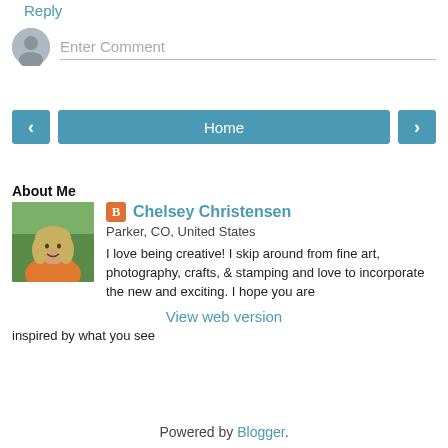Reply
[Figure (other): Comment input field with avatar/user icon placeholder and 'Enter Comment' placeholder text]
[Figure (other): Navigation buttons: left arrow, Home, right arrow]
View web version
About Me
[Figure (photo): Profile photo of Chelsey Christensen, a woman with blonde wavy hair wearing an orange top, outdoors with green background]
Chelsey Christensen
Parker, CO, United States
I love being creative! I skip around from fine art, photography, crafts, & stamping and love to incorporate the new and exciting. I hope you are inspired by what you see
View my complete profile
Powered by Blogger.